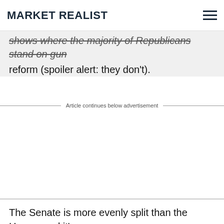MARKET REALIST
shows where the majority of Republicans stand on gun reform (spoiler alert: they don't).
Article continues below advertisement
The Senate is more evenly split than the House, and it's